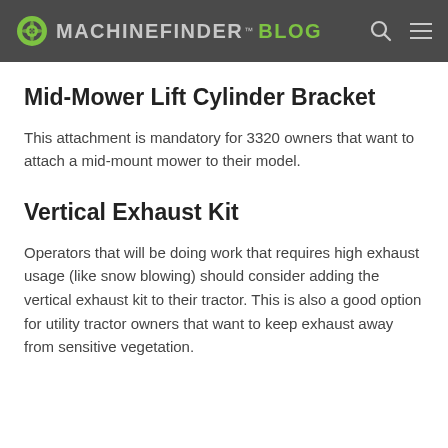MACHINEFINDER BLOG
Mid-Mower Lift Cylinder Bracket
This attachment is mandatory for 3320 owners that want to attach a mid-mount mower to their model.
Vertical Exhaust Kit
Operators that will be doing work that requires high exhaust usage (like snow blowing) should consider adding the vertical exhaust kit to their tractor. This is also a good option for utility tractor owners that want to keep exhaust away from sensitive vegetation.